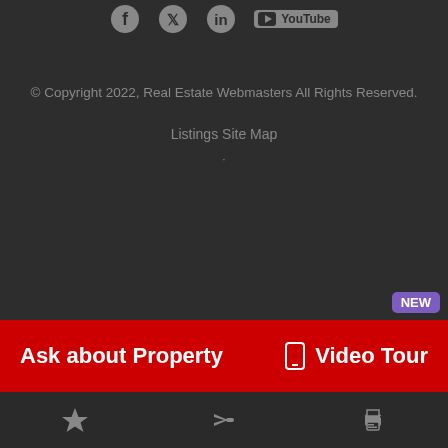[Figure (logo): Social media icons: Facebook, Twitter, LinkedIn, YouTube]
© Copyright 2022, Real Estate Webmasters All Rights Reserved.
Listings Site Map
Ask about Property
Video Tour
Bottom navigation bar with star, share, and print icons